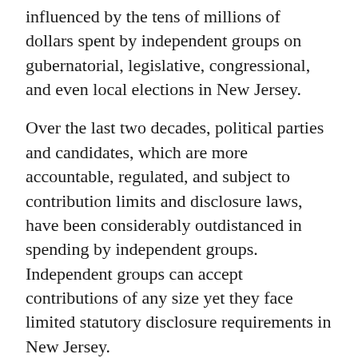influenced by the tens of millions of dollars spent by independent groups on gubernatorial, legislative, congressional, and even local elections in New Jersey.
Over the last two decades, political parties and candidates, which are more accountable, regulated, and subject to contribution limits and disclosure laws, have been considerably outdistanced in spending by independent groups. Independent groups can accept contributions of any size yet they face limited statutory disclosure requirements in New Jersey.
While some have laudably and voluntarily disclosed their donors and expenses through reports filed with ELEC, current law requires disclosure only for independent expenditures on political advertisements that directly urge voters to support or oppose candidates.